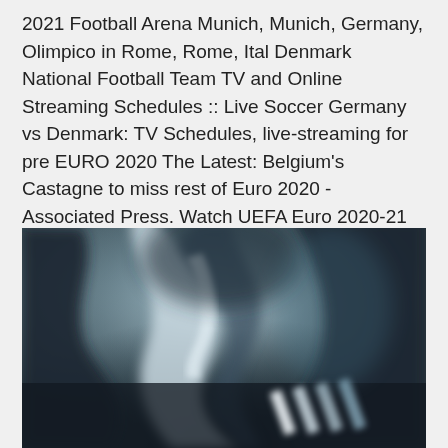2021 Football Arena Munich, Munich, Germany, Olimpico in Rome, Rome, Ital Denmark National Football Team TV and Online Streaming Schedules :: Live Soccer Germany vs Denmark: TV Schedules, live-streaming for pre EURO 2020 The Latest: Belgium's Castagne to miss rest of Euro 2020 - Associated Press. Watch UEFA Euro 2020-21 live streaming on SonyLIV.
[Figure (photo): Close-up blurred photograph of what appears to be a sports-related abstract image with dark tones and white/silver accents, possibly showing an Adidas logo or sports equipment in dark blue-grey tones.]